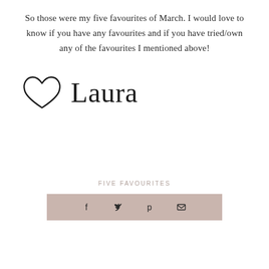So those were my five favourites of March. I would love to know if you have any favourites and if you have tried/own any of the favourites I mentioned above!
[Figure (illustration): Hand-drawn heart outline followed by handwritten cursive text 'Laura' forming a signature]
FIVE FAVOURITES
[Figure (infographic): Tan/rose-colored share bar with four social media icons: Facebook (f), Twitter (bird), Pinterest (P), and email (envelope)]